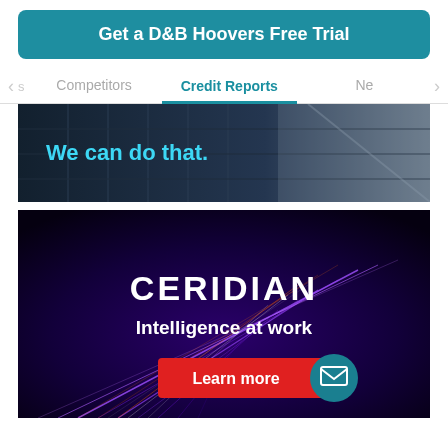Get a D&B Hoovers Free Trial
Competitors | Credit Reports | Ne>
[Figure (photo): Office/building interior photo with cyan text overlay reading 'We can do that.']
[Figure (photo): Ceridian advertisement with purple light streaks on dark background. Text: CERIDIAN, Intelligence at work, Learn more button and email icon.]